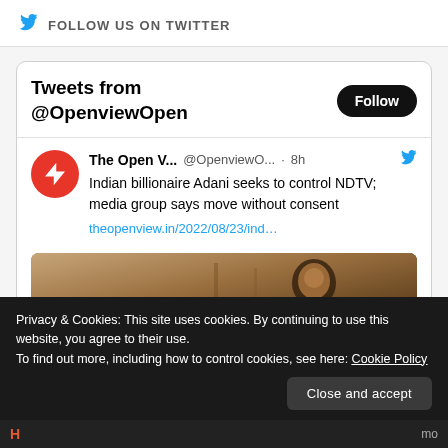FOLLOW US ON TWITTER
Tweets from @OpenviewOpen
Follow
The Open V... @OpenviewO... · 8h
Indian billionaire Adani seeks to control NDTV; media group says move without consent
theopenview.in/2022/08/23/ind…
[Figure (screenshot): Partial photograph of a person (Adani) in brownish/wooden background]
Privacy & Cookies: This site uses cookies. By continuing to use this website, you agree to their use.
To find out more, including how to control cookies, see here: Cookie Policy
Close and accept